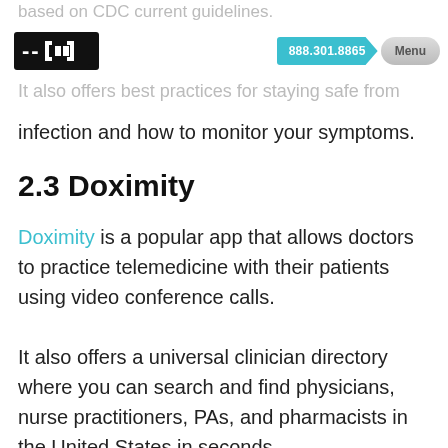based on CDC current guidelines.
[Figure (logo): CHD logo - black square with bracket-like icon]
[Figure (screenshot): Navigation bar with phone number 888.301.8865 in cyan and Menu button in gray]
It also offers best practices for staying safe from infection and how to monitor your symptoms.
2.3 Doximity
Doximity is a popular app that allows doctors to practice telemedicine with their patients using video conference calls.
It also offers a universal clinician directory where you can search and find physicians, nurse practitioners, PAs, and pharmacists in the United States in seconds.